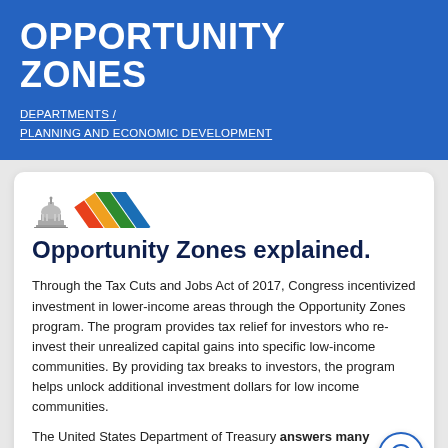OPPORTUNITY ZONES
DEPARTMENTS / PLANNING AND ECONOMIC DEVELOPMENT
[Figure (logo): City/government logo with capitol building icon and colorful diagonal rainbow stripes]
Opportunity Zones explained.
Through the Tax Cuts and Jobs Act of 2017, Congress incentivized investment in lower-income areas through the Opportunity Zones program. The program provides tax relief for investors who re-invest their unrealized capital gains into specific low-income communities. By providing tax breaks to investors, the program helps unlock additional investment dollars for low income communities.
The United States Department of Treasury answers many